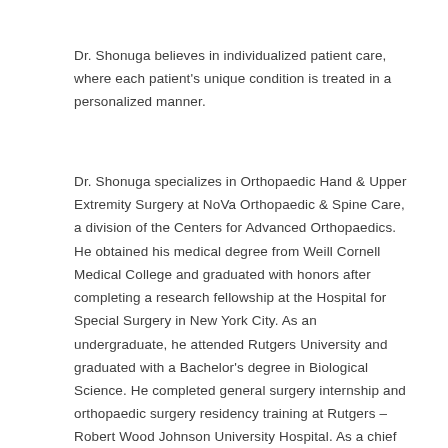Dr. Shonuga believes in individualized patient care, where each patient's unique condition is treated in a personalized manner.
Dr. Shonuga specializes in Orthopaedic Hand & Upper Extremity Surgery at NoVa Orthopaedic & Spine Care, a division of the Centers for Advanced Orthopaedics. He obtained his medical degree from Weill Cornell Medical College and graduated with honors after completing a research fellowship at the Hospital for Special Surgery in New York City. As an undergraduate, he attended Rutgers University and graduated with a Bachelor's degree in Biological Science. He completed general surgery internship and orthopaedic surgery residency training at Rutgers – Robert Wood Johnson University Hospital. As a chief resident, he was presented with the resident of the year award and was nominated to participate in the American Orthopaedic Association's Emerging Leaders Program. After residency, he completed fellowship training in hand and upper extremity surgery at the Rothman Institute/Thomas Jefferson University Hospital in Philadelphia. Throughout his training, Dr. Shonuga has published